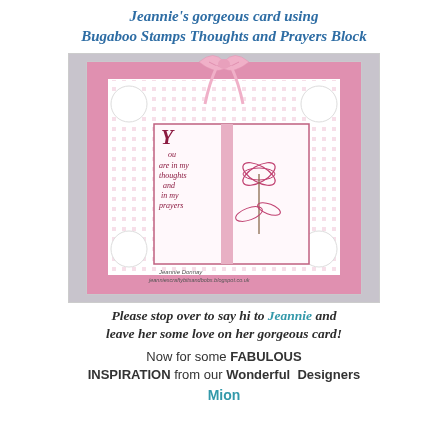Jeannie's gorgeous card using Bugaboo Stamps Thoughts and Prayers Block
[Figure (photo): A handmade greeting card with a pink ribbon bow at the top, white decorative lace-effect border, pink diamond patterned background, and a central stamped image of lilies with the text 'You are in my thoughts and in my prayers' in italic script. Watermark: Jeannie Donnay, jeanniescraftybitsandbobs.blogspot.co.uk]
Please stop over to say hi to Jeannie and leave her some love on her gorgeous card!
Now for some FABULOUS INSPIRATION from our Wonderful  Designers
Mion